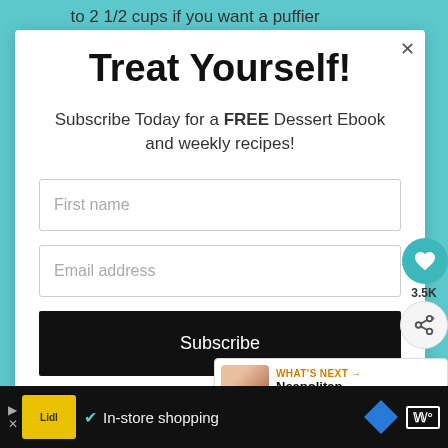to 2 1/2 cups if you want a puffier
Treat Yourself!
Subscribe Today for a FREE Dessert Ebook and weekly recipes!
First name
Email address
Subscribe
3.5K
WHAT'S NEXT → Neapolitan Cookies
In-store shopping